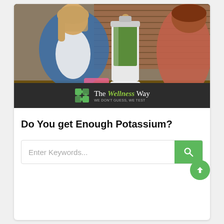[Figure (photo): Two women at a kitchen counter with a blender containing a green smoothie. A brick wall is visible in the background. The Wellness Way logo is overlaid at the bottom of the image on a dark banner.]
Do You get Enough Potassium?
[Figure (other): Search bar with placeholder text 'Enter Keywords...' and a green search button with a magnifying glass icon, plus a green circular scroll-to-top arrow button.]